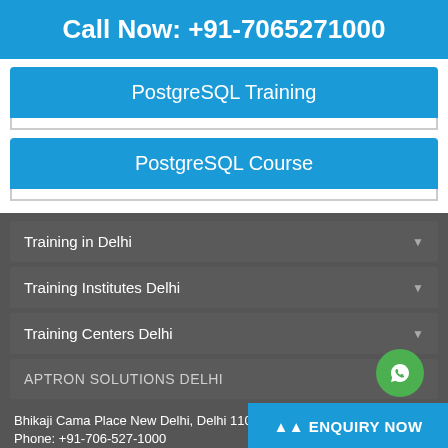Call Now: +91-7065271000
PostgreSQL Training
PostgreSQL Course
Training in Delhi ▼
Training Institutes Delhi ▼
Training Centers Delhi ▼
APTRON SOLUTIONS DELHI
Bhikaji Cama Place New Delhi, Delhi 110070
Phone: +91-706-527-1000
ENQUIRY NOW